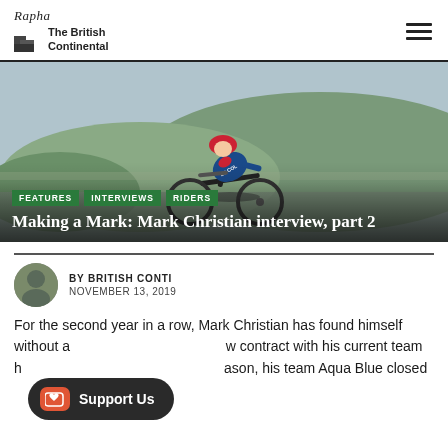Rapha / The British Continental
[Figure (photo): Cyclist in red helmet and Le Col/Wiggins kit riding a time trial bike at speed, blurred countryside background]
FEATURES · INTERVIEWS · RIDERS
Making a Mark: Mark Christian interview, part 2
BY BRITISH CONTI
NOVEMBER 13, 2019
For the second year in a row, Mark Christian has found himself without a new contract with his current team heading into the off season, his team Aqua Blue closed...